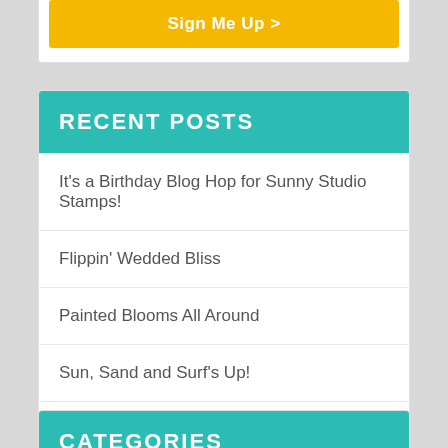[Figure (other): Yellow 'Sign Me Up >' button inside a white card widget]
RECENT POSTS
It's a Birthday Blog Hop for Sunny Studio Stamps!
Flippin' Wedded Bliss
Painted Blooms All Around
Sun, Sand and Surf's Up!
Welcome Little One!
CATEGORIES